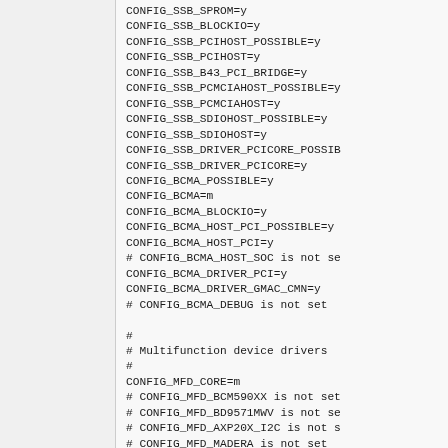CONFIG_SSB_SPROM=y
CONFIG_SSB_BLOCKIO=y
CONFIG_SSB_PCIHOST_POSSIBLE=y
CONFIG_SSB_PCIHOST=y
CONFIG_SSB_B43_PCI_BRIDGE=y
CONFIG_SSB_PCMCIAHOST_POSSIBLE=y
CONFIG_SSB_PCMCIAHOST=y
CONFIG_SSB_SDIOHOST_POSSIBLE=y
CONFIG_SSB_SDIOHOST=y
CONFIG_SSB_DRIVER_PCICORE_POSSIBLE=y
CONFIG_SSB_DRIVER_PCICORE=y
CONFIG_BCMA_POSSIBLE=y
CONFIG_BCMA=m
CONFIG_BCMA_BLOCKIO=y
CONFIG_BCMA_HOST_PCI_POSSIBLE=y
CONFIG_BCMA_HOST_PCI=y
# CONFIG_BCMA_HOST_SOC is not set
CONFIG_BCMA_DRIVER_PCI=y
CONFIG_BCMA_DRIVER_GMAC_CMN=y
# CONFIG_BCMA_DEBUG is not set

#
# Multifunction device drivers
#
CONFIG_MFD_CORE=m
# CONFIG_MFD_BCM590XX is not set
# CONFIG_MFD_BD9571MWV is not set
# CONFIG_MFD_AXP20X_I2C is not set
# CONFIG_MFD_MADERA is not set
# CONFIG_MFD_DA9052_SPI is not set
# CONFIG_MFD_DA9062 is not set
# CONFIG_MFD_DA9063 is not set